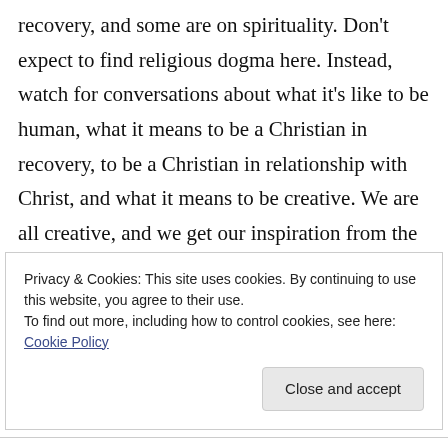recovery, and some are on spirituality. Don't expect to find religious dogma here. Instead, watch for conversations about what it's like to be human, what it means to be a Christian in recovery, to be a Christian in relationship with Christ, and what it means to be creative. We are all creative, and we get our inspiration from the Great Creator. We can lead better lives by improving our conscious contact with God. Please feel free to read all my posts and to come back for more. I too will continue to follow your
Privacy & Cookies: This site uses cookies. By continuing to use this website, you agree to their use.
To find out more, including how to control cookies, see here: Cookie Policy